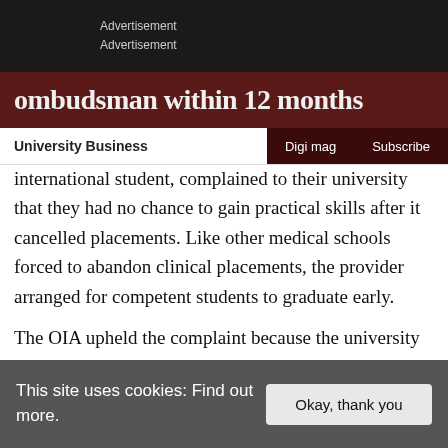Advertisement
Advertisement
ombudsman within 12 months
University Business | Digi mag | Subscribe
international student, complained to their university that they had no chance to gain practical skills after it cancelled placements. Like other medical schools forced to abandon clinical placements, the provider arranged for competent students to graduate early.

The OIA upheld the complaint because the university had not offered the student “additional online learning
This site uses cookies: Find out more.